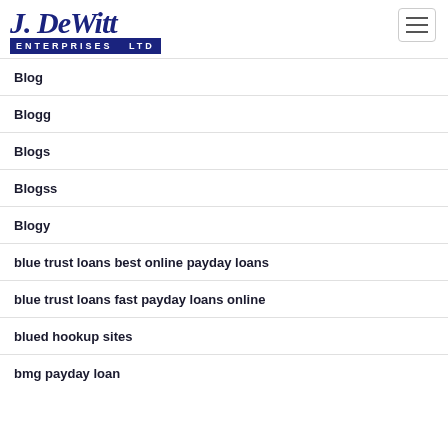[Figure (logo): J. DeWitt Enterprises Ltd logo in navy blue with italic script top and block text bottom]
Blog
Blogg
Blogs
Blogss
Blogy
blue trust loans best online payday loans
blue trust loans fast payday loans online
blued hookup sites
bmg payday loan